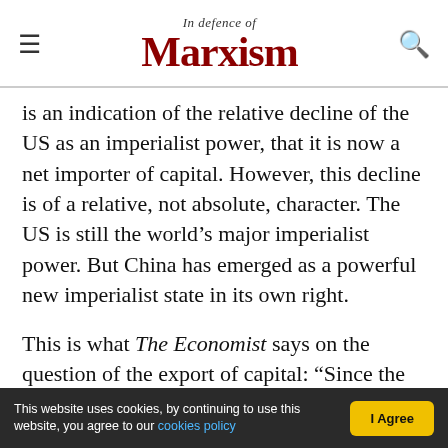In defence of Marxism
is an indication of the relative decline of the US as an imperialist power, that it is now a net importer of capital. However, this decline is of a relative, not absolute, character. The US is still the world’s major imperialist power. But China has emerged as a powerful new imperialist state in its own right.
This is what The Economist says on the question of the export of capital: “Since the 1970s trade across the Pacific has far outrun the Atlantic... by one estimate in 2010 China promised more loans to Latin America than the World Bank, the Inter-
This website uses cookies, by continuing to use this website, you agree to our cookies policy | I Agree